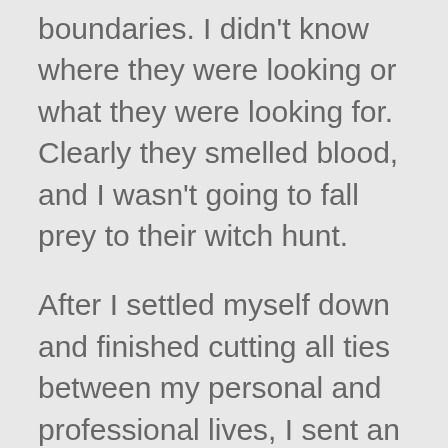boundaries. I didn't know where they were looking or what they were looking for. Clearly they smelled blood, and I wasn't going to fall prey to their witch hunt.
After I settled myself down and finished cutting all ties between my personal and professional lives, I sent an email to Laura Dabkowski, senior vice president over human resources, hoping as a human resources professional she might